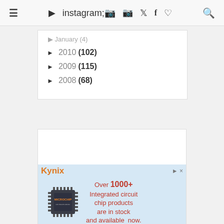≡ ▶ 📷 🐦 f ♥ 🔍
► 2010 (102)
► 2009 (115)
► 2008 (68)
[Figure (photo): Advertisement banner for Kynix semiconductor products featuring a Microchip brand integrated circuit chip (QFP package) on a light blue background. Text reads: 'Over 1000+ Integrated circuit chip products are in stock and available now.' Brand name 'Kynix' shown in orange/yellow text.]